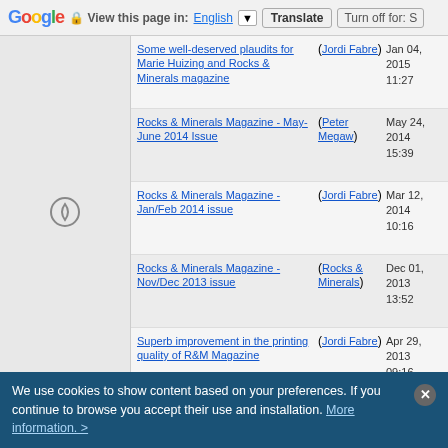Google | View this page in: English | Translate | Turn off for: S
| Title | Author | Date | Replies | Views |  |
| --- | --- | --- | --- | --- | --- |
| Some well-deserved plaudits for Marie Huizing and Rocks & Minerals magazine | (Jordi Fabre) | Jan 04, 2015 11:27 | Replies: 9 | Views: 30244 |  |
| Rocks & Minerals Magazine - May-June 2014 Issue | (Peter Megaw) | May 24, 2014 15:39 | Replies: 2 | Views: 20973 |  |
| Rocks & Minerals Magazine - Jan/Feb 2014 issue | (Jordi Fabre) | Mar 12, 2014 10:16 | Replies: 1 | Views: 18750 | 9 |
| Rocks & Minerals Magazine - Nov/Dec 2013 issue | (Rocks & Minerals) | Dec 01, 2013 13:52 | Replies: 2 | Views: 26962 |  |
| Superb improvement in the printing quality of R&M Magazine | (Jordi Fabre) | Apr 29, 2013 09:16 | Replies: 3 | Views: 22122 |  |
| Rocks & Minerals ONLINE | (Jordi Fabre) | Aug 20, 2012 12:03 | Replies: 4 | Views: 28007 |  |
| Five years of FMF in Rocks & Minerals | (Antonio Alcaide) | Oct 04, 2011 12:51 | Replies: 1 | Views: 20611 |  |
| In Rock and Minerals: "Natural Versus Aesthetic" from Jesse Fisher | (Jordi Fabre) | Apr 12, 2010 20:05 | Replies: 20 | Views: 53706 |  |
We use cookies to show content based on your preferences. If you continue to browse you accept their use and installation. More information. >